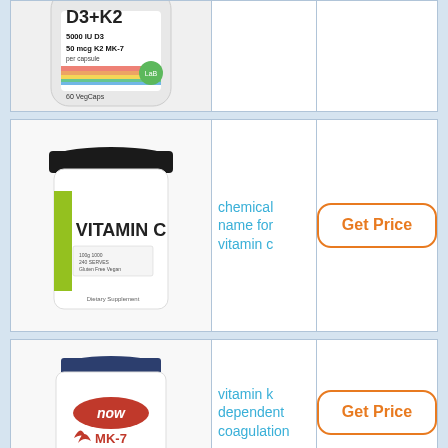[Figure (photo): Partially visible supplement bottle (D3+K2, 5000 IU D3, 50 mcg K2 MK-7, 60 VegCaps) - top portion only]
[Figure (photo): NutraBio Vitamin C white container with black lid]
chemical name for vitamin c
[Figure (other): Get Price button - orange rounded rectangle]
[Figure (photo): NOW Foods MK-7 Vitamin K2 supplement bottle with dark blue cap - partial view]
vitamin k dependent coagulation
[Figure (other): Get Price button - orange rounded rectangle]